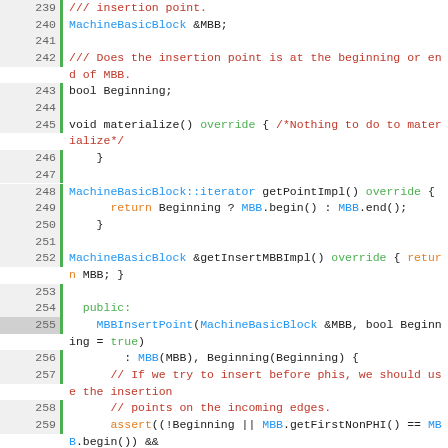[Figure (screenshot): Source code listing in C++ showing lines 239-263 of a MBBInsertPoint class implementation, with syntax highlighting. Line numbers in left gutter with green border. Comments in red/dark red, type names in blue, keywords like override/public/true in green, return/assert in orange.]